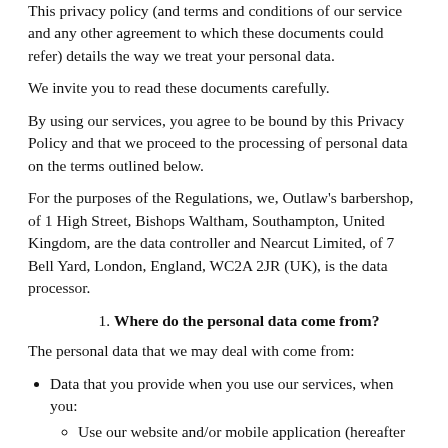This privacy policy (and terms and conditions of our service and any other agreement to which these documents could refer) details the way we treat your personal data.
We invite you to read these documents carefully.
By using our services, you agree to be bound by this Privacy Policy and that we proceed to the processing of personal data on the terms outlined below.
For the purposes of the Regulations, we, Outlaw's barbershop, of 1 High Street, Bishops Waltham, Southampton, United Kingdom, are the data controller and Nearcut Limited, of 7 Bell Yard, London, England, WC2A 2JR (UK), is the data processor.
1. Where do the personal data come from?
The personal data that we may deal with come from:
Data that you provide when you use our services, when you:
Use our website and/or mobile application (hereafter referred to as our "Site")
Communicate with us via phone, email, verbally or otherwise;